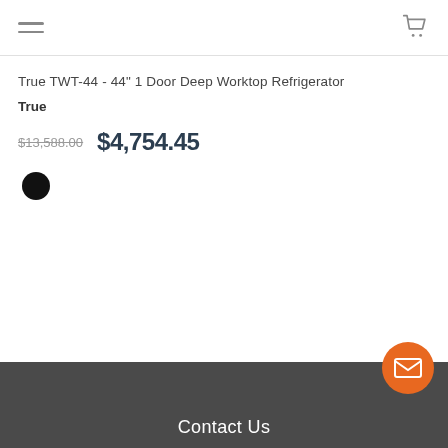Navigation header with hamburger menu and cart icon
True TWT-44 - 44" 1 Door Deep Worktop Refrigerator
True
$13,588.00  $4,754.45
[Figure (other): Black filled circle color swatch]
Contact Us